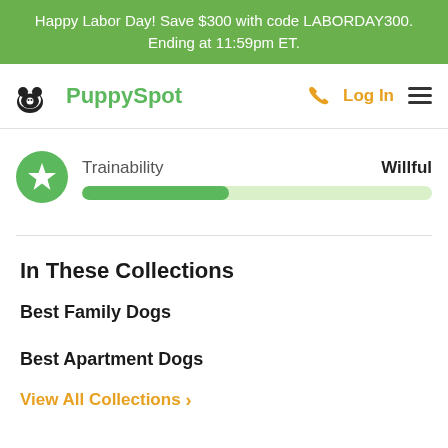Happy Labor Day! Save $300 with code LABORDAY300. Ending at 11:59pm ET.
[Figure (logo): PuppySpot logo with dog icon and green text, plus navigation icons for phone, Log In, and hamburger menu]
Trainability    Willful
In These Collections
Best Family Dogs
Best Apartment Dogs
View All Collections >